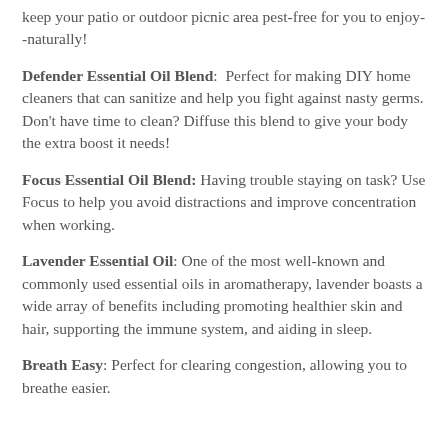keep your patio or outdoor picnic area pest-free for you to enjoy--naturally!
Defender Essential Oil Blend: Perfect for making DIY home cleaners that can sanitize and help you fight against nasty germs. Don't have time to clean? Diffuse this blend to give your body the extra boost it needs!
Focus Essential Oil Blend: Having trouble staying on task? Use Focus to help you avoid distractions and improve concentration when working.
Lavender Essential Oil: One of the most well-known and commonly used essential oils in aromatherapy, lavender boasts a wide array of benefits including promoting healthier skin and hair, supporting the immune system, and aiding in sleep.
Breath Easy: Perfect for clearing congestion, allowing you to breathe easier.